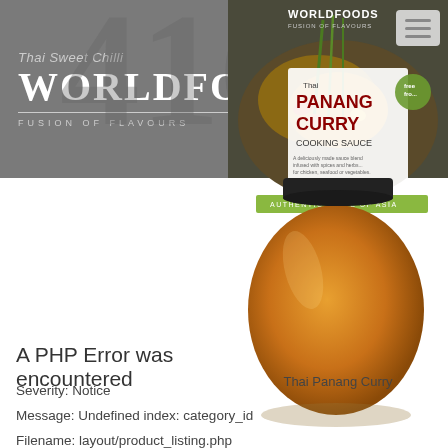Thai Sweet Chilli WORLDFOODS® FUSION OF FLAVOURS
[Figure (photo): WorldFoods Thai Panang Curry Cooking Sauce jar product photo with hamburger menu button overlay]
Thai Panang Curry
A PHP Error was encountered
Severity: Notice
Message: Undefined index: category_id
Filename: layout/product_listing.php